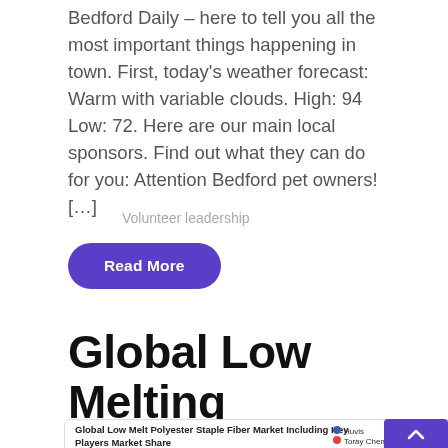Bedford Daily – here to tell you all the most important things happening in town. First, today's weather forecast: Warm with variable clouds. High: 94 Low: 72. Here are our main local sponsors. Find out what they can do for you: Attention Bedford pet owners! […]
Volunteer leadership
Read More
Global Low Melting Polyester Staple Fibe...
[Figure (pie-chart): Partially visible pie chart showing market share of key players including Huvis, Toray Chemical Korea, and FETL]